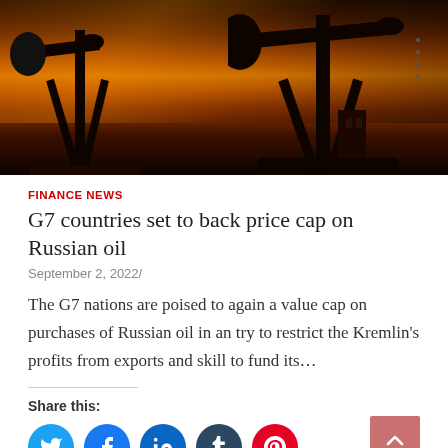[Figure (photo): Oil pump jack silhouettes against a dramatic orange and red sunset sky]
FINANCE NEWS
G7 countries set to back price cap on Russian oil
September 2, 2022/
The G7 nations are poised to again a value cap on purchases of Russian oil in an try to restrict the Kremlin's profits from exports and skill to fund its…
Share this: